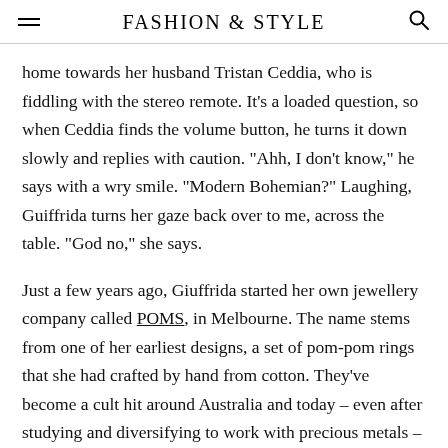FASHION & STYLE
home towards her husband Tristan Ceddia, who is fiddling with the stereo remote. It’s a loaded question, so when Ceddia finds the volume button, he turns it down slowly and replies with caution. “Ahh, I don’t know,” he says with a wry smile. “Modern Bohemian?” Laughing, Guiffrida turns her gaze back over to me, across the table. “God no,” she says.
Just a few years ago, Giuffrida started her own jewellery company called POMS, in Melbourne. The name stems from one of her earliest designs, a set of pom-pom rings that she had crafted by hand from cotton. They’ve become a cult hit around Australia and today – even after studying and diversifying to work with precious metals – there’s a constant stream of orders for her pom-pom rings and earrings.